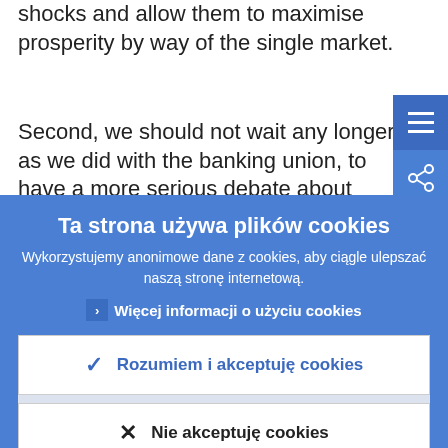shocks and allow them to maximise prosperity by way of the single market.
Second, we should not wait any longer, as we did with the banking union, to have a more serious debate about deeper
[Figure (screenshot): Menu hamburger icon button (blue background, three white lines)]
[Figure (screenshot): Share icon button (blue background, share network icon)]
Ta strona używa plików cookies
Wykorzystujemy anonimowe dane z cookies, aby ciągle ulepszać naszą stronę internetową.
› Więcej informacji o użyciu cookies
✓ Rozumiem i akceptuję cookies
✕ Nie akceptuję cookies